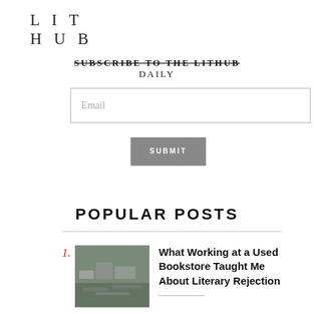LIT HUB
SUBSCRIBE TO THE LITHUB DAILY
Email
SUBMIT
POPULAR POSTS
1. What Working at a Used Bookstore Taught Me About Literary Rejection
2. What Five Years with a